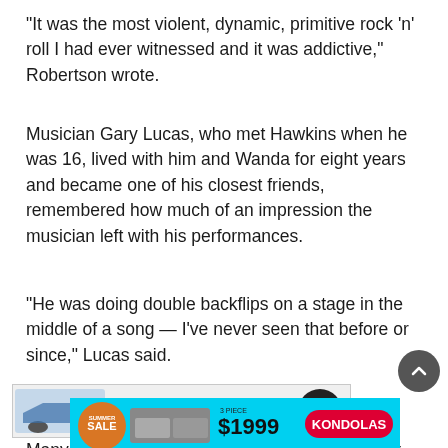“It was the most violent, dynamic, primitive rock ‘n’ roll I had ever witnessed and it was addictive,” Robertson wrote.
Musician Gary Lucas, who met Hawkins when he was 16, lived with him and Wanda for eight years and became one of his closest friends, remembered how much of an impression the musician left with his performances.
“He was doing double backflips on a stage in the middle of a song — I’ve never seen that before or since,” Lucas said.
[Figure (other): Advertisement banner: Step into the RIGHT VEHICLE with car image and Today's Drive logo]
Many credit Hawkins — who had an affection for desig...
[Figure (other): Advertisement banner: KONDOLAS furniture Summer SALE $1999 with furniture images on cyan/yellow background]